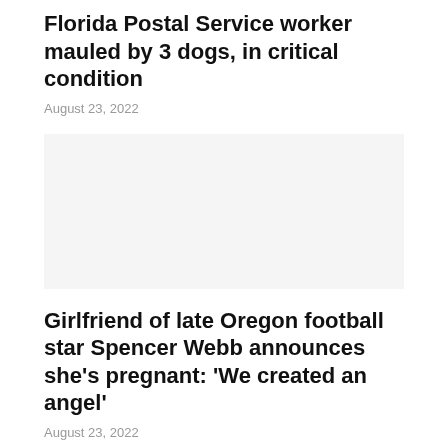Florida Postal Service worker mauled by 3 dogs, in critical condition
August 23, 2022
[Figure (photo): Image placeholder for the Florida Postal Service worker article]
Girlfriend of late Oregon football star Spencer Webb announces she's pregnant: 'We created an angel'
August 23, 2022